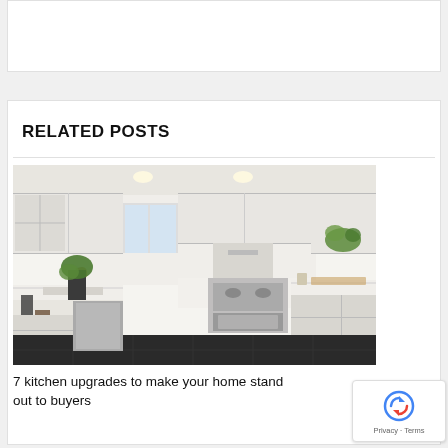[Figure (other): Empty white card at top of page]
RELATED POSTS
[Figure (photo): A renovated kitchen with white upper cabinets, marble countertops, stainless steel range and hood, brass hardware, dark tile floor, farmhouse sink, and green plants.]
7 kitchen upgrades to make your home stand out to buyers